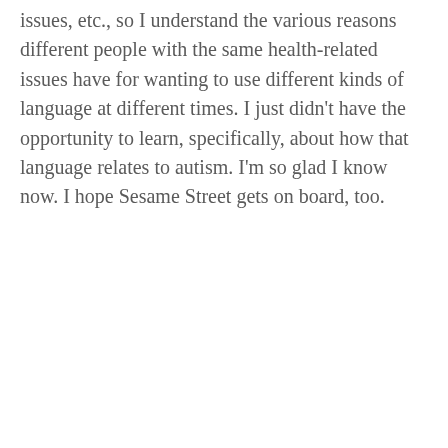issues, etc., so I understand the various reasons different people with the same health-related issues have for wanting to use different kinds of language at different times. I just didn't have the opportunity to learn, specifically, about how that language relates to autism. I'm so glad I know now. I hope Sesame Street gets on board, too.
★ Liked by 1 person
Pingback: Sorry, Sesame Street, we need to talk about Julia | Dirty, Naked...
Advertisements
[Figure (other): Day One journaling app advertisement banner with light blue background, app icons, and text reading 'The only journaling app you'll ever need.']